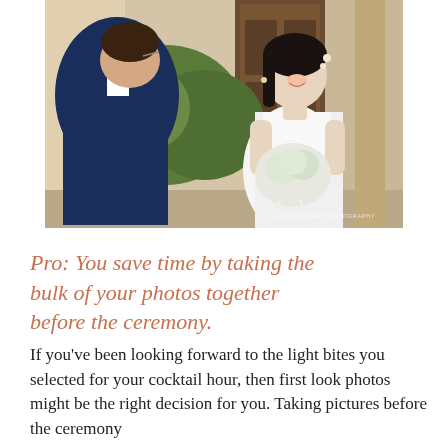[Figure (photo): Wedding couple during a first look moment outdoors. A groom in a blue suit with glasses faces a smiling bride in a white dress holding a white and greenery bouquet. They stand in front of a building with a wooden door and green bushes. A watermark reads 'UNIQUE ROSE PHOTOGRAPHY' in the lower right corner.]
Pro: You save time by taking the bulk of your photos together before the ceremony. If you've been looking forward to the light bites you selected for your cocktail hour, then first look photos might be the right decision for you. Taking pictures before the ceremony